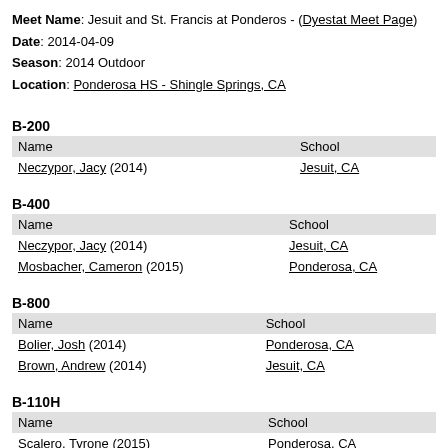Meet Name: Jesuit and St. Francis at Ponderos - (Dyestat Meet Page)
Date: 2014-04-09
Season: 2014 Outdoor
Location: Ponderosa HS - Shingle Springs, CA
B-200
| Name | School |
| --- | --- |
| Neczypor, Jacy (2014) | Jesuit, CA |
B-400
| Name | School |
| --- | --- |
| Neczypor, Jacy (2014) | Jesuit, CA |
| Mosbacher, Cameron (2015) | Ponderosa, CA |
B-800
| Name | School |
| --- | --- |
| Bolier, Josh (2014) | Ponderosa, CA |
| Brown, Andrew (2014) | Jesuit, CA |
B-110H
| Name | School |
| --- | --- |
| Scalero, Tyrone (2015) | Ponderosa, CA |